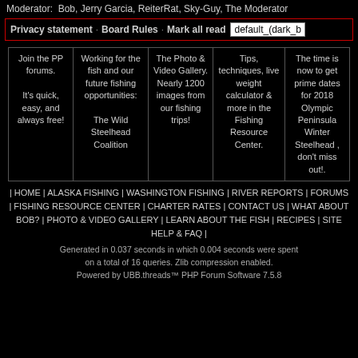Moderator:  Bob, Jerry Garcia, ReiterRat, Sky-Guy, The Moderator
Privacy statement · Board Rules · Mark all read  default_(dark_b
| Col1 | Col2 | Col3 | Col4 | Col5 |
| --- | --- | --- | --- | --- |
| Join the PP forums.

It's quick, easy, and always free! | Working for the fish and our future fishing opportunities:

The Wild Steelhead Coalition | The Photo & Video Gallery. Nearly 1200 images from our fishing trips! | Tips, techniques, live weight calculator & more in the Fishing Resource Center. | The time is now to get prime dates for 2018 Olympic Peninsula Winter Steelhead , don't miss out!. |
| HOME | ALASKA FISHING | WASHINGTON FISHING | RIVER REPORTS | FORUMS | FISHING RESOURCE CENTER | CHARTER RATES | CONTACT US | WHAT ABOUT BOB? | PHOTO & VIDEO GALLERY | LEARN ABOUT THE FISH | RECIPES | SITE HELP & FAQ |
Generated in 0.037 seconds in which 0.004 seconds were spent on a total of 16 queries. Zlib compression enabled.
Powered by UBB.threads™ PHP Forum Software 7.5.8